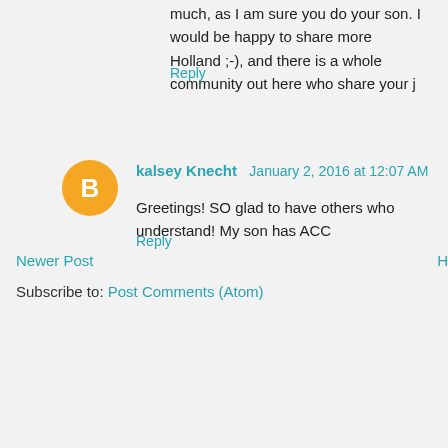much, as I am sure you do your son. I would be happy to share more Holland ;-), and there is a whole community out here who share your j
Reply
kalsey Knecht  January 2, 2016 at 12:07 AM
Greetings! SO glad to have others who understand! My son has ACC
Reply
Newer Post
H
Subscribe to: Post Comments (Atom)